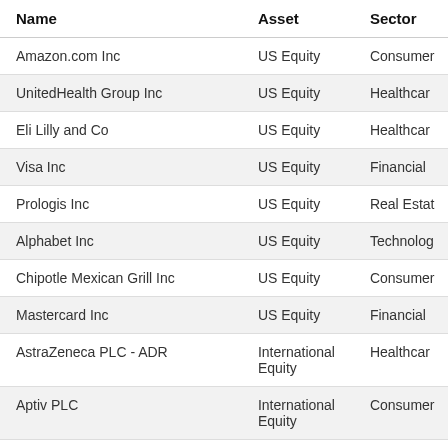| Name | Asset | Sector |
| --- | --- | --- |
| Amazon.com Inc | US Equity | Consumer |
| UnitedHealth Group Inc | US Equity | Healthcar |
| Eli Lilly and Co | US Equity | Healthcar |
| Visa Inc | US Equity | Financial |
| Prologis Inc | US Equity | Real Estat |
| Alphabet Inc | US Equity | Technolog |
| Chipotle Mexican Grill Inc | US Equity | Consumer |
| Mastercard Inc | US Equity | Financial |
| AstraZeneca PLC - ADR | International Equity | Healthcar |
| Aptiv PLC | International Equity | Consumer |